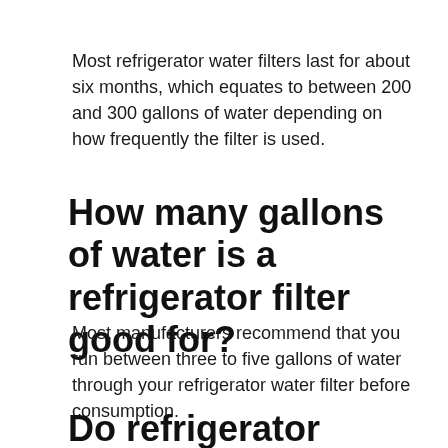Most refrigerator water filters last for about six months, which equates to between 200 and 300 gallons of water depending on how frequently the filter is used.
How many gallons of water is a refrigerator filter good for?
Most manufacturers recommend that you run between three to five gallons of water through your refrigerator water filter before consumption.
Do refrigerator water filters